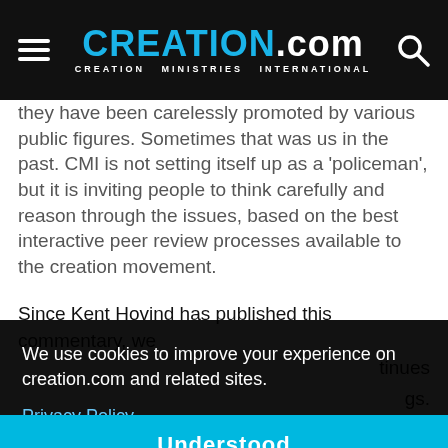CREATION.com — CREATION MINISTRIES INTERNATIONAL
they have been carelessly promoted by various public figures. Sometimes that was us in the past. CMI is not setting itself up as a 'policeman', but it is inviting people to think carefully and reason through the issues, based on the best interactive peer review processes available to the creation movement.
Since Kent Hovind has published this commentary, we
tinues
gs.
In
We use cookies to improve your experience on creation.com and related sites.
Privacy Policy
Understood
n, there needs to be an obligation by all to the greater